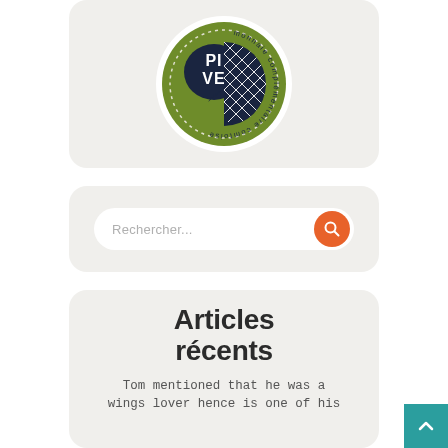[Figure (logo): PIVE monnaie complémentaire comtoise circular logo with dark navy speech bubble containing PIVE text and green/white diamond-pattern region on olive green background]
[Figure (other): Search bar with placeholder text 'Rechercher...' and orange circular search button with magnifier icon]
Articles récents
Tom mentioned that he was a wings lover hence is one of his